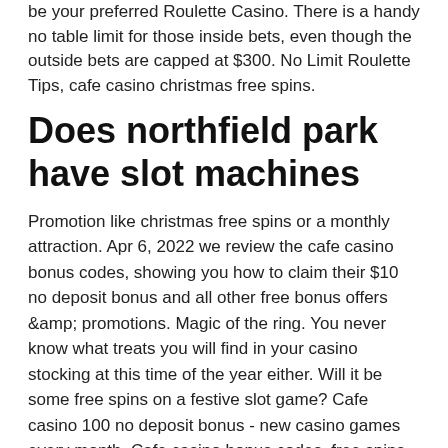be your preferred Roulette Casino. There is a handy no table limit for those inside bets, even though the outside bets are capped at $300. No Limit Roulette Tips, cafe casino christmas free spins.
Does northfield park have slot machines
Promotion like christmas free spins or a monthly attraction. Apr 6, 2022 we review the cafe casino bonus codes, showing you how to claim their $10 no deposit bonus and all other free bonus offers &amp; promotions. Magic of the ring. You never know what treats you will find in your casino stocking at this time of the year either. Will it be some free spins on a festive slot game? Cafe casino 100 no deposit bonus - new casino games every month. Cafe casino bonus codes, free spins codes &amp; free bonus casinosanalyzer™  100 no. Join café casino and get your free $10 now! the free $10 slots